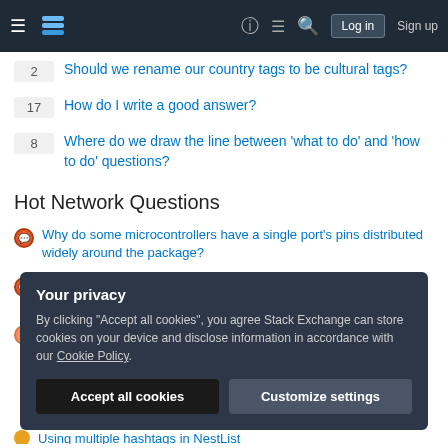Stack Exchange navigation bar with hamburger menu, logo, help, chat, search, Log in, Sign up
2  Should we rename our country tags to be cultural tags?
17  How do I write a good answer?
8  Where do we draw the line between 'what to do' and 'how to do' questions?
Hot Network Questions
Why do some microcontrollers have a single port's pins distributed widely around the package?
How to turn off an entire circuit when one LED fails (in the event of an open branch)?
Can you put a propeller on the back of a plane, and have it go
Your privacy
By clicking "Accept all cookies", you agree Stack Exchange can store cookies on your device and disclose information in accordance with our Cookie Policy.
Using multiple hashtags in NestList